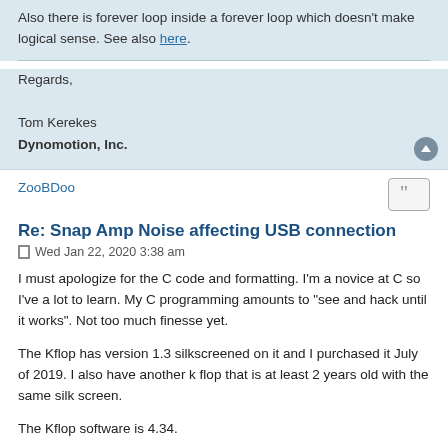Also there is forever loop inside a forever loop which doesn't make logical sense. See also here.
Regards,

Tom Kerekes
Dynomotion, Inc.
ZooBDoo
Re: Snap Amp Noise affecting USB connection
Wed Jan 22, 2020 3:38 am
I must apologize for the C code and formatting. I'm a novice at C so I've a lot to learn. My C programming amounts to "see and hack until it works". Not too much finesse yet.
The Kflop has version 1.3 silkscreened on it and I purchased it July of 2019. I also have another k flop that is at least 2 years old with the same silk screen.
The Kflop software is 4.34.